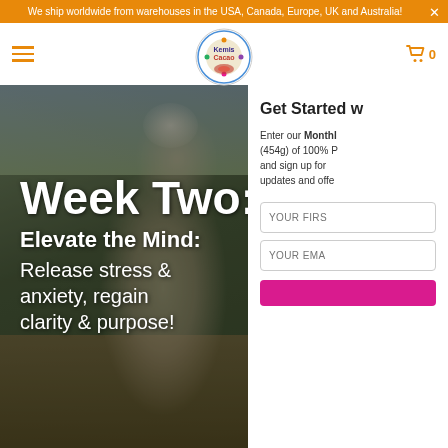We ship worldwide from warehouses in the USA, Canada, Europe, UK and Australia!
[Figure (logo): Kemis Cacao circular logo with colorful mandala-style design]
[Figure (photo): Woman in white head wrap holding a ceremonial instrument in an outdoor desert setting]
Week Two:
Elevate the Mind:
Release stress & anxiety, regain clarity & purpose!
Get Started w
Enter our Monthl (454g) of 100% P and sign up for updates and offe
YOUR FIRS
YOUR EMA